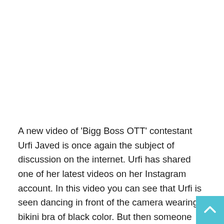A new video of 'Bigg Boss OTT' contestant Urfi Javed is once again the subject of discussion on the internet. Urfi has shared one of her latest videos on her Instagram account. In this video you can see that Urfi is seen dancing in front of the camera wearing a bikini bra of black color. But then someone gave her a waist-tying belt in her hand. After this, Urfi indicated to tie that belt on the waist, but then suddenly she wore this belt as a bralette. After this, Urfi is seen dancing wearing it and flaunting